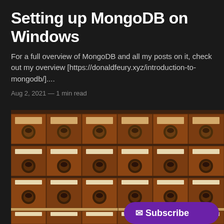Setting up MongoDB on Windows
For a full overview of MongoDB and all my posts on it, check out my overview [https://donaldfeury.xyz/introduction-to-mongodb/]....
Aug 2, 2021 — 1 min read
[Figure (photo): Photo of wooden library card catalog drawers arranged in a grid, with metal drawer pulls and label holders. A purple 'Subscribe' button with an envelope icon is overlaid in the bottom right area of the image.]